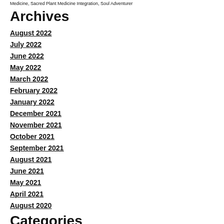Medicine, Sacred Plant Medicine Integration, Soul Adventurer
Archives
August 2022
July 2022
June 2022
May 2022
March 2022
February 2022
January 2022
December 2021
November 2021
October 2021
September 2021
August 2021
June 2021
May 2021
April 2021
August 2020
Categories